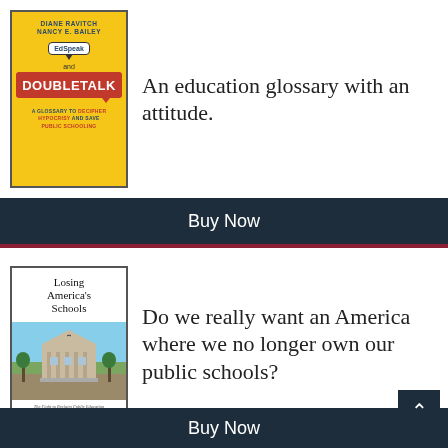[Figure (illustration): Book cover: EdSpeak and DOUBLETALK by Diane Ravitch and Nancy E. Bailey. Yellow cover with speech bubble and red DOUBLETALK box. Subtitle: A Glossary to Decipher Hypocrisy and Save Public Schooling.]
An education glossary with an attitude.
Buy Now
[Figure (illustration): Book cover: Losing America's Schools by Nancy E. Bailey. White and photo cover showing a classical school building. Subtitle: The Fight to Reclaim Public Education.]
Do we really want an America where we no longer own our public schools?
Buy Now